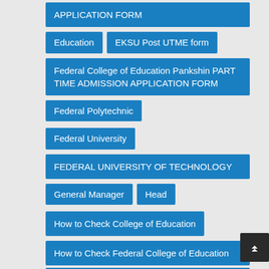APPLICATION FORM
Education
EKSU Post UTME form
Federal College of Education Pankshin PART TIME ADMISSION APPLICATION FORM
Federal Polytechnic
Federal University
FEDERAL UNIVERSITY OF TECHNOLOGY
General Manager
Head
How to Check College of Education
How to Check Federal College of Education
How to Check Federal College of Education (Technical)
How to Check Federal Polytechnic